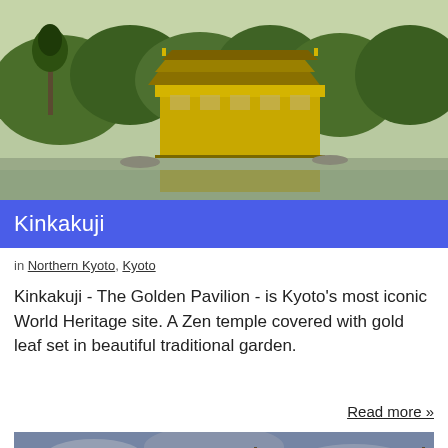[Figure (photo): Photo of Kinkakuji (Golden Pavilion) temple reflected in a pond, surrounded by green trees]
Kinkakuji
in Northern Kyoto, Kyoto
Kinkakuji - The Golden Pavilion - is Kyoto’s most iconic World Heritage site. A Zen temple covered with gold leaf set in beautiful traditional garden.
Read more »
[Figure (photo): Photo of Kiyomizudera temple at dusk with pagoda and mountain skyline in Kyoto]